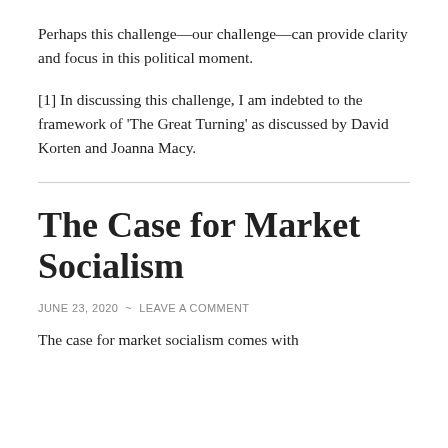Perhaps this challenge—our challenge—can provide clarity and focus in this political moment.
[1] In discussing this challenge, I am indebted to the framework of 'The Great Turning' as discussed by David Korten and Joanna Macy.
The Case for Market Socialism
JUNE 23, 2020  ~  LEAVE A COMMENT
The case for market socialism comes with...